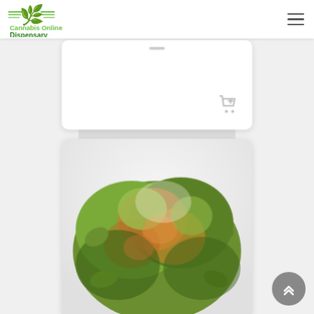[Figure (logo): Cannabis Online Dispensary logo with green cannabis leaf and green/yellow text]
[Figure (screenshot): Top product card partially visible with shopping cart add icon]
[Figure (photo): Close-up photo of cannabis buds with green and orange trichomes on a white background]
[Figure (other): Scroll-to-top button, dark gray circle with double chevron up arrow]